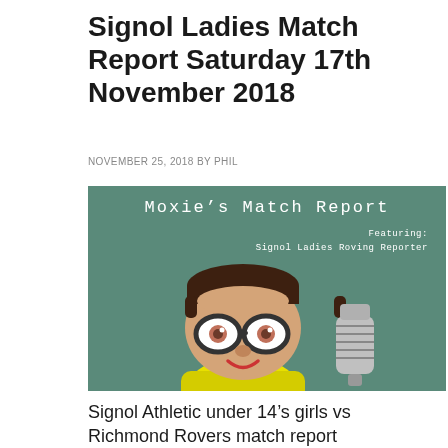Signol Ladies Match Report Saturday 17th November 2018
NOVEMBER 25, 2018 BY PHIL
[Figure (illustration): Moxie's Match Report graphic featuring a cartoon reporter character with glasses and a yellow shirt, next to a microphone. Text reads 'Moxie's Match Report Featuring: Signol Ladies Roving Reporter' on a teal/green background.]
Signol Athletic under 14's girls vs Richmond Rovers match report